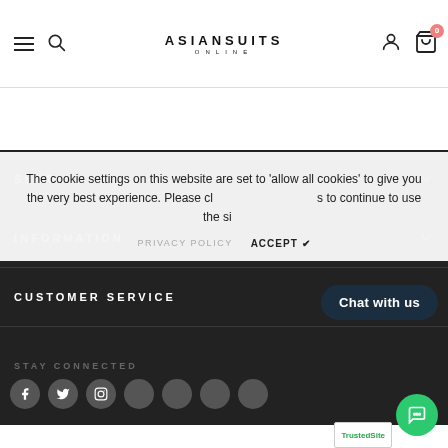ASIANSUIT ONLINE — Navigation header with hamburger menu, search, user account, and cart (0)
SHOP
INFORMATION
CUSTOMER SERVICE
STAY CONNECTED
The cookie settings on this website are set to 'allow all cookies' to give you the very best experience. Please click Accept Cookies to continue to use the site.
PRIVACY POLICY    ACCEPT ✔
Chat with us